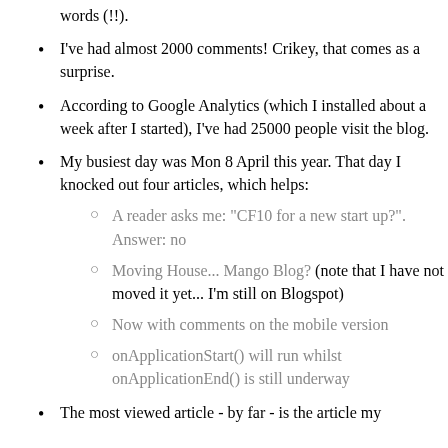words (!!).
I've had almost 2000 comments! Crikey, that comes as a surprise.
According to Google Analytics (which I installed about a week after I started), I've had 25000 people visit the blog.
My busiest day was Mon 8 April this year. That day I knocked out four articles, which helps:
A reader asks me: "CF10 for a new start up?". Answer: no
Moving House... Mango Blog? (note that I have not moved it yet... I'm still on Blogspot)
Now with comments on the mobile version
onApplicationStart() will run whilst onApplicationEnd() is still underway
The most viewed article - by far - is the article my